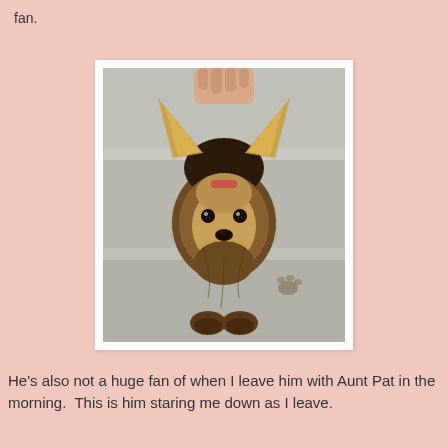fan.
[Figure (photo): A small Yorkshire Terrier dog with muddy paws and wet fur, large ears visible, looking up at the camera. A human hand is holding the dog's head/back. The dog is on concrete steps with a small muddy paw print visible nearby.]
He's also not a huge fan of when I leave him with Aunt Pat in the morning.  This is him staring me down as I leave.